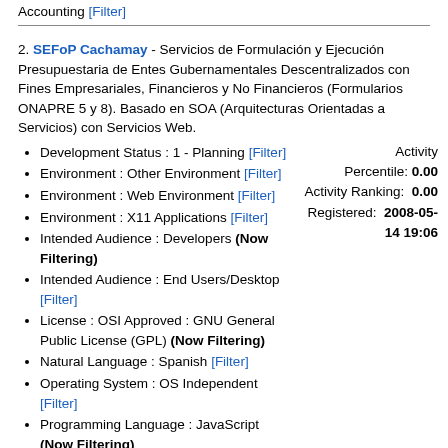Accounting [Filter]
2. SEFoP Cachamay - Servicios de Formulación y Ejecución Presupuestaria de Entes Gubernamentales Descentralizados con Fines Empresariales, Financieros y No Financieros (Formularios ONAPRE 5 y 8). Basado en SOA (Arquitecturas Orientadas a Servicios) con Servicios Web.
Development Status : 1 - Planning [Filter]
Environment : Other Environment [Filter]
Environment : Web Environment [Filter]
Environment : X11 Applications [Filter]
Intended Audience : Developers (Now Filtering)
Intended Audience : End Users/Desktop [Filter]
License : OSI Approved : GNU General Public License (GPL) (Now Filtering)
Natural Language : Spanish [Filter]
Operating System : OS Independent [Filter]
Programming Language : JavaScript (Now Filtering)
Programming Language : PHP [Filter]
Programming Language : Python
Activity Percentile: 0.00 Activity Ranking: 0.00 Registered: 2008-05-14 19:06